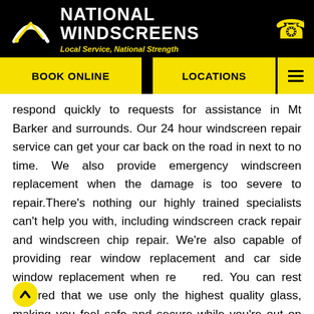NATIONAL WINDSCREENS — Local Service, National Strength
respond quickly to requests for assistance in Mt Barker and surrounds. Our 24 hour windscreen repair service can get your car back on the road in next to no time. We also provide emergency windscreen replacement when the damage is too severe to repair.There's nothing our highly trained specialists can't help you with, including windscreen crack repair and windscreen chip repair. We're also capable of providing rear window replacement and car side window replacement when required. You can rest assured that we use only the highest quality glass, making you feel safe and secure while you're out on the road.
A Fully Mobile Service